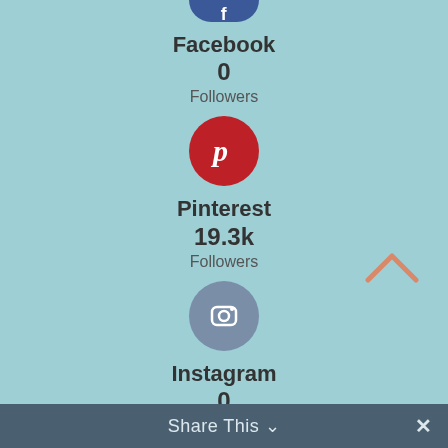[Figure (infographic): Facebook social icon circle (partially visible at top), cropped]
Facebook
0
Followers
[Figure (infographic): Pinterest red circle icon with P logo]
Pinterest
19.3k
Followers
[Figure (infographic): Instagram blue-grey circle icon with camera logo]
Instagram
0
Followers
[Figure (infographic): YouTube red circle icon with play button]
YouTube
1k
Followers
[Figure (infographic): Twitter blue circle icon (partially visible at bottom)]
Share This ∨  ✕